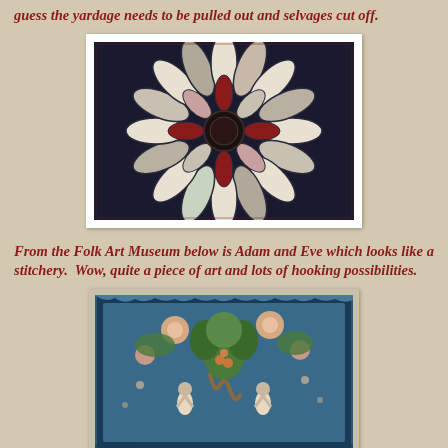guess the yardage needs to be pulled out and selvages cut off.
[Figure (photo): A folk art textile or rug featuring a large floral sunburst/daisy pattern with petals in white, red, blue, and green on a dark background, with a dark circular center.]
From the Folk Art Museum below is Adam and Eve which looks like a stitchery. Wow, quite a piece of art and lots of hooking possibilities.
[Figure (photo): A folk art stitchery/embroidery depicting Adam and Eve with a serpent wrapped around a tree, surrounded by flowers and foliage on a blue background.]